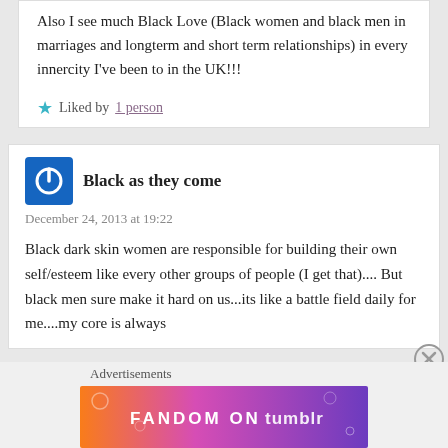Also I see much Black Love (Black women and black men in marriages and longterm and short term relationships) in every innercity I've been to in the UK!!!
Liked by 1 person
Black as they come
December 24, 2013 at 19:22
Black dark skin women are responsible for building their own self/esteem like every other groups of people (I get that).... But black men sure make it hard on us...its like a battle field daily for me....my core is always
Advertisements